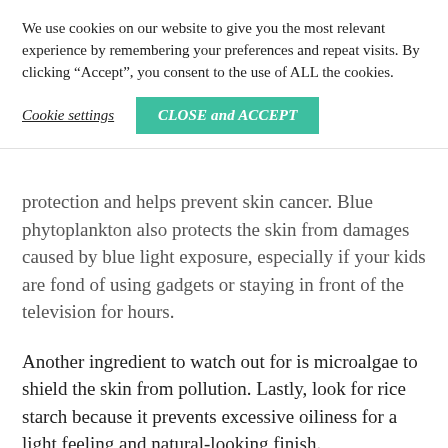We use cookies on our website to give you the most relevant experience by remembering your preferences and repeat visits. By clicking “Accept”, you consent to the use of ALL the cookies.
Cookie settings
CLOSE and ACCEPT
protection and helps prevent skin cancer. Blue phytoplankton also protects the skin from damages caused by blue light exposure, especially if your kids are fond of using gadgets or staying in front of the television for hours.
Another ingredient to watch out for is microalgae to shield the skin from pollution. Lastly, look for rice starch because it prevents excessive oiliness for a light feeling and natural-looking finish.